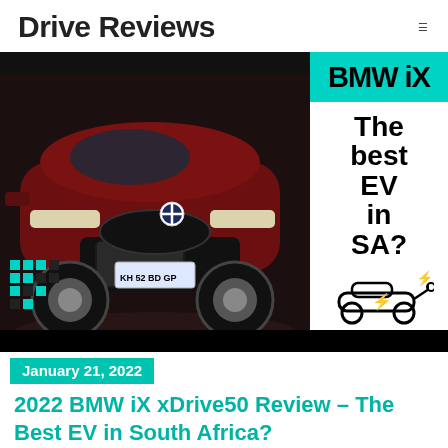Drive Reviews
[Figure (photo): BMW iX xDrive50 electric SUV in dark red/maroon color, front three-quarter view, with overlay text 'BMW iX – The best EV in SA?' on a cyan and white banner on the right side, and a teal dot pattern bottom left. South African license plate visible. Black bars top and bottom of image.]
January 21, 2022
2022 BMW iX xDrive50 Review – The Best EV in South Africa?